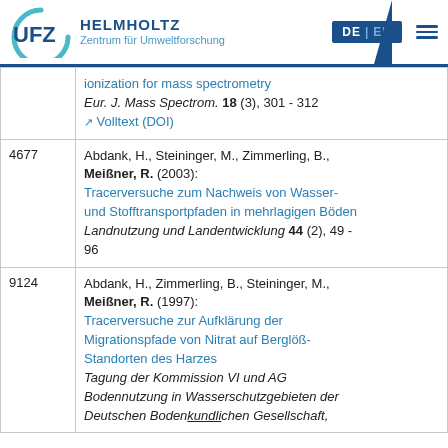UFZ Helmholtz Zentrum für Umweltforschung — DE | EN
| ID | Reference |
| --- | --- |
|  | ionization for mass spectrometry
Eur. J. Mass Spectrom. 18 (3), 301 - 312
Volltext (DOI) |
| 4677 | Abdank, H., Steininger, M., Zimmerling, B., Meißner, R. (2003):
Tracerversuche zum Nachweis von Wasser- und Stofftransportpfaden in mehrlagigen Böden
Landnutzung und Landentwicklung 44 (2), 49 - 96 |
| 9124 | Abdank, H., Zimmerling, B., Steininger, M., Meißner, R. (1997):
Tracerversuche zur Aufklärung der Migrationspfade von Nitrat auf Berglöß-Standorten des Harzes
Tagung der Kommission VI und AG Bodennutzung in Wasserschutzgebieten der Deutschen Bodenkundlichen Gesellschaft, |